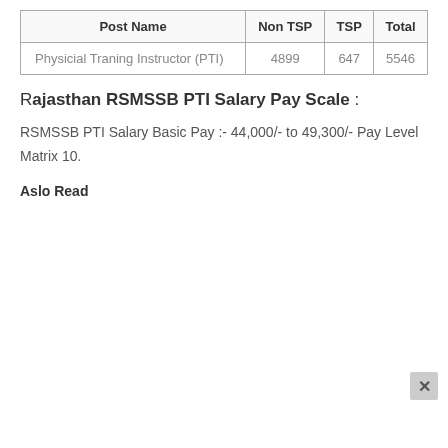| Post Name | Non TSP | TSP | Total |
| --- | --- | --- | --- |
| Physicial Traning Instructor (PTI) | 4899 | 647 | 5546 |
Rajasthan RSMSSB PTI Salary Pay Scale :
RSMSSB PTI Salary Basic Pay :- 44,000/- to 49,300/- Pay Level Matrix 10.
Aslo Read